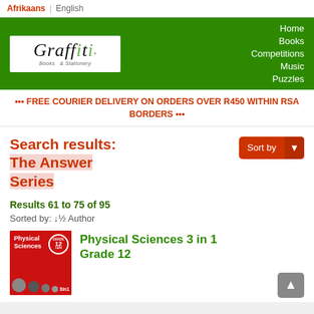Afrikaans | English
[Figure (screenshot): Graffiti Books & Stationery website navigation header with green background. Logo on left, navigation links on right: Home, Books, Competitions, Music, Puzzles.]
••• FREE COURIER DELIVERY ON ORDERS OVER R450 WITHIN RSA BORDERS •••
Search results: The Answer Series
Results 61 to 75 of 95
Sorted by: ↓½ Author
Physical Sciences 3 in 1 Grade 12